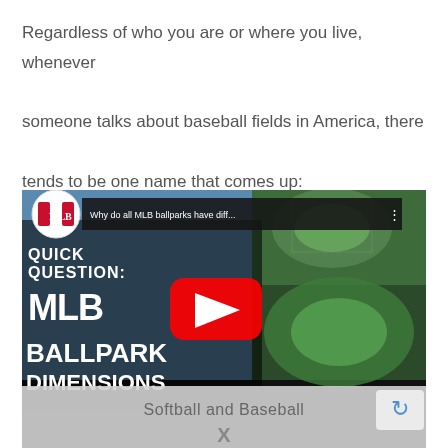Regardless of who you are or where you live, whenever someone talks about baseball fields in America, there tends to be one name that comes up:
[Figure (screenshot): YouTube video thumbnail for 'Why do all MLB ballparks have diff...' showing MLB Quick Question: MLB Ballpark Dimensions with aerial views of stadiums and a YouTube play button overlay. Below it is a partial overlay bar reading 'Softball and Baseball' with an X mark.]